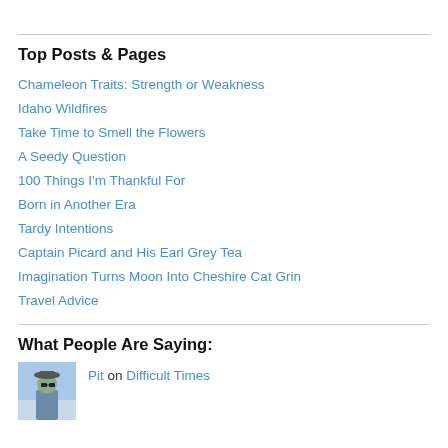Top Posts & Pages
Chameleon Traits: Strength or Weakness
Idaho Wildfires
Take Time to Smell the Flowers
A Seedy Question
100 Things I'm Thankful For
Born in Another Era
Tardy Intentions
Captain Picard and His Earl Grey Tea
Imagination Turns Moon Into Cheshire Cat Grin
Travel Advice
What People Are Saying:
Pit on Difficult Times
[Figure (photo): Avatar photo of user Pit]